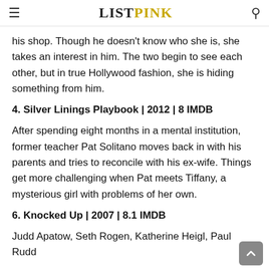ListPink
his shop. Though he doesn't know who she is, she takes an interest in him. The two begin to see each other, but in true Hollywood fashion, she is hiding something from him.
4. Silver Linings Playbook | 2012 | 8 IMDB
After spending eight months in a mental institution, former teacher Pat Solitano moves back in with his parents and tries to reconcile with his ex-wife. Things get more challenging when Pat meets Tiffany, a mysterious girl with problems of her own.
6. Knocked Up | 2007 | 8.1 IMDB
Judd Apatow, Seth Rogen, Katherine Heigl, Paul Rudd